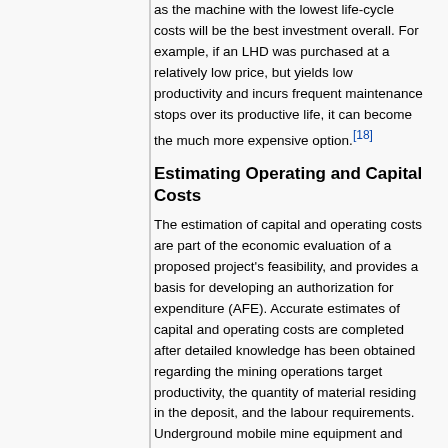as the machine with the lowest life-cycle costs will be the best investment overall. For example, if an LHD was purchased at a relatively low price, but yields low productivity and incurs frequent maintenance stops over its productive life, it can become the much more expensive option.[18]
Estimating Operating and Capital Costs
The estimation of capital and operating costs are part of the economic evaluation of a proposed project's feasibility, and provides a basis for developing an authorization for expenditure (AFE). Accurate estimates of capital and operating costs are completed after detailed knowledge has been obtained regarding the mining operations target productivity, the quantity of material residing in the deposit, and the labour requirements. Underground mobile mine equipment and the corresponding maintenance, scheduling, and replacement requirements have a significant impact on initial capital investment, operating